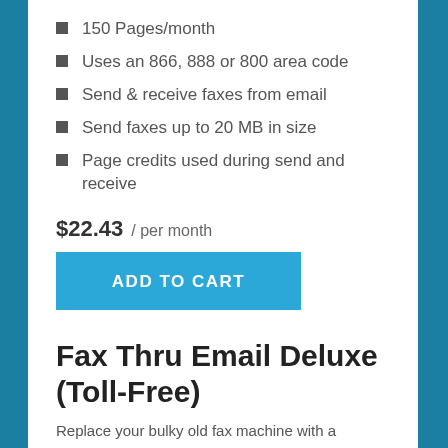150 Pages/month
Uses an 866, 888 or 800 area code
Send & receive faxes from email
Send faxes up to 20 MB in size
Page credits used during send and receive
$22.43  / per month
ADD TO CART
Fax Thru Email Deluxe (Toll-Free)
Replace your bulky old fax machine with a